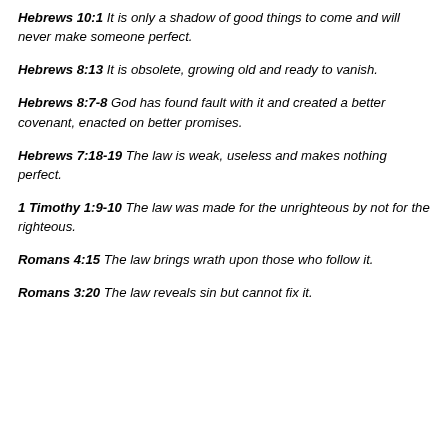Hebrews 10:1 It is only a shadow of good things to come and will never make someone perfect.
Hebrews 8:13 It is obsolete, growing old and ready to vanish.
Hebrews 8:7-8 God has found fault with it and created a better covenant, enacted on better promises.
Hebrews 7:18-19 The law is weak, useless and makes nothing perfect.
1 Timothy 1:9-10 The law was made for the unrighteous by not for the righteous.
Romans 4:15 The law brings wrath upon those who follow it.
Romans 3:20 The law reveals sin but cannot fix it.